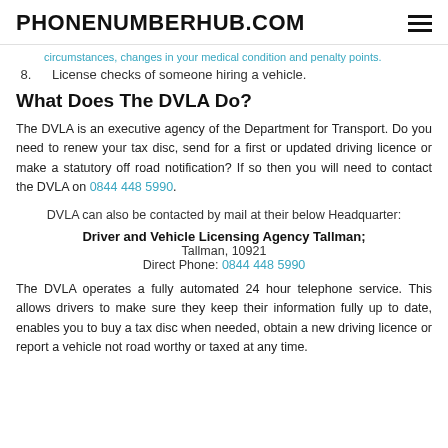PHONENUMBERHUB.COM
(cut off) ...circumstances, changes in your medical condition and penalty points.
8. License checks of someone hiring a vehicle.
What Does The DVLA Do?
The DVLA is an executive agency of the Department for Transport. Do you need to renew your tax disc, send for a first or updated driving licence or make a statutory off road notification? If so then you will need to contact the DVLA on 0844 448 5990.
DVLA can also be contacted by mail at their below Headquarter:
Driver and Vehicle Licensing Agency Tallman; Tallman, 10921 Direct Phone: 0844 448 5990
The DVLA operates a fully automated 24 hour telephone service. This allows drivers to make sure they keep their information fully up to date, enables you to buy a tax disc when needed, obtain a new driving licence or report a vehicle not road worthy or taxed at any time.